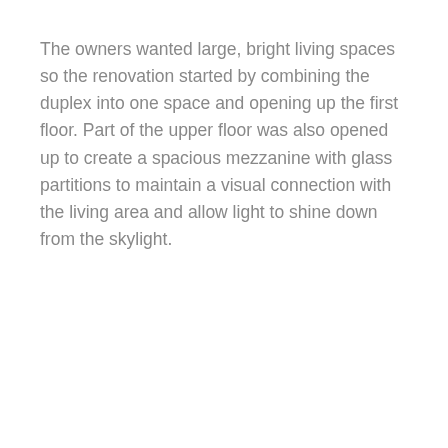The owners wanted large, bright living spaces so the renovation started by combining the duplex into one space and opening up the first floor. Part of the upper floor was also opened up to create a spacious mezzanine with glass partitions to maintain a visual connection with the living area and allow light to shine down from the skylight.